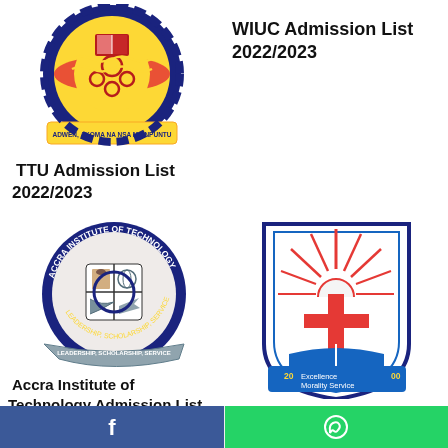[Figure (logo): KNUST/WIUC university logo with gear, book, yellow banner reading ADWEN, AKOMA NA NSA MA MPUNTU]
WIUC Admission List 2022/2023
TTU Admission List 2022/2023
[Figure (logo): Accra Institute of Technology circular logo with LEADERSHIP, SCHOLARSHIP, SERVICE banner]
[Figure (logo): Shield-shaped logo with red sun rays, cross, open book, and text Excellence Morality Service 2000]
Accra Institute of Technology Admission List 2022/2023
Methodist Universit
[Figure (logo): Facebook share button]
[Figure (logo): WhatsApp share button]